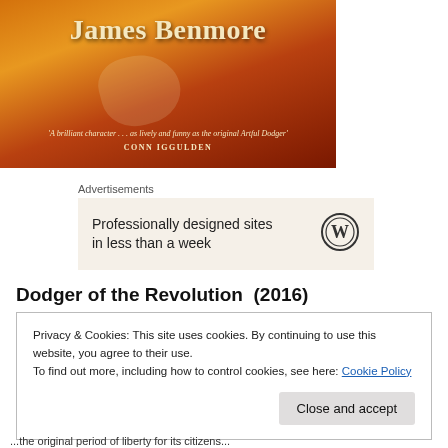[Figure (illustration): Book cover with warm orange and red tones showing the author name 'James Benmore' in cream serif font, with a quote 'A brilliant character ... as lively and funny as the original Artful Dodger' attributed to CONN IGGULDEN]
Advertisements
[Figure (screenshot): WordPress advertisement banner with text 'Professionally designed sites in less than a week' and WordPress logo]
Dodger of the Revolution  (2016)
Privacy & Cookies: This site uses cookies. By continuing to use this website, you agree to their use.
To find out more, including how to control cookies, see here: Cookie Policy
Close and accept
...the original period of liberty for its citizens...